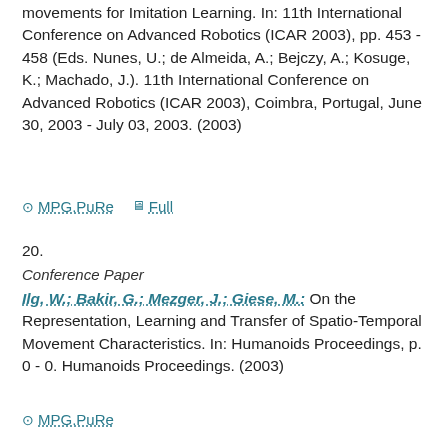movements for Imitation Learning. In: 11th International Conference on Advanced Robotics (ICAR 2003), pp. 453 - 458 (Eds. Nunes, U.; de Almeida, A.; Bejczy, A.; Kosuge, K.; Machado, J.). 11th International Conference on Advanced Robotics (ICAR 2003), Coimbra, Portugal, June 30, 2003 - July 03, 2003. (2003)
MPG.PuRe   Full
20.
Conference Paper
Ilg, W.; Bakir, G.; Mezger, J.; Giese, M.: On the Representation, Learning and Transfer of Spatio-Temporal Movement Characteristics. In: Humanoids Proceedings, p. 0 - 0. Humanoids Proceedings. (2003)
MPG.PuRe